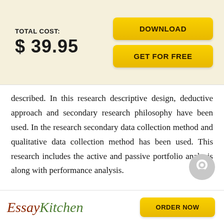TOTAL COST: $ 39.95
DOWNLOAD
GET FOR FREE
described. In this research descriptive design, deductive approach and secondary research philosophy have been used. In the research secondary data collection method and qualitative data collection method has been used. This research includes the active and passive portfolio analysis along with performance analysis.
EssayKitchen  ORDER NOW